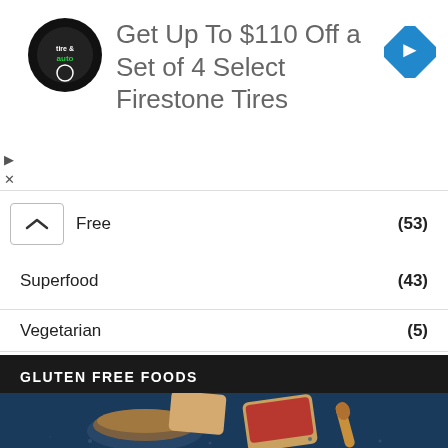[Figure (screenshot): Advertisement banner: Firestone tire & auto logo (black circle), text 'Get Up To $110 Off a Set of 4 Select Firestone Tires', blue diamond navigation arrow icon on right, with play and X controls on left side]
Free (53)
Superfood (43)
Vegetarian (5)
GLUTEN FREE FOODS
[Figure (photo): Food photo on dark blue background showing a bowl of peanut butter, toast with jam, and a wooden spoon]